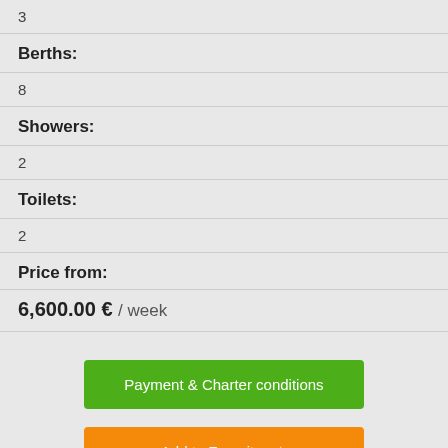3
Berths:
8
Showers:
2
Toilets:
2
Price from:
6,600.00 € / week
Payment & Charter conditions
Add to Favorites ☆